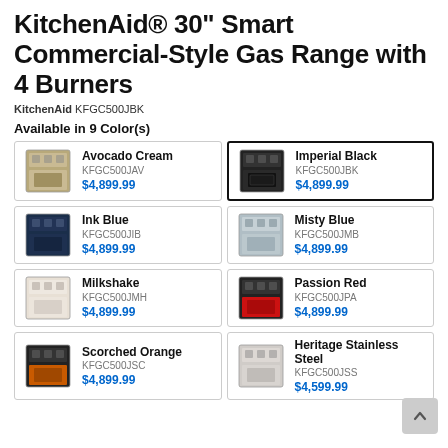KitchenAid® 30" Smart Commercial-Style Gas Range with 4 Burners
KitchenAid KFGC500JBK
Available in 9 Color(s)
| Image | Color Name | SKU | Price |
| --- | --- | --- | --- |
| [image] | Avocado Cream | KFGC500JAV | $4,899.99 |
| [image] | Imperial Black | KFGC500JBK | $4,899.99 |
| [image] | Ink Blue | KFGC500JIB | $4,899.99 |
| [image] | Misty Blue | KFGC500JMB | $4,899.99 |
| [image] | Milkshake | KFGC500JMH | $4,899.99 |
| [image] | Passion Red | KFGC500JPA | $4,899.99 |
| [image] | Scorched Orange | KFGC500JSC | $4,899.99 |
| [image] | Heritage Stainless Steel | KFGC500JSS | $4,599.99 |